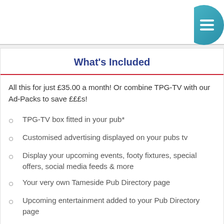What's Included
All this for just £35.00 a month! Or combine TPG-TV with our Ad-Packs to save £££s!
TPG-TV box fitted in your pub*
Customised advertising displayed on your pubs tv
Display your upcoming events, footy fixtures, special offers, social media feeds & more
Your very own Tameside Pub Directory page
Upcoming entertainment added to your Pub Directory page
Upcoming entertainment added to the Tameside Pub Guide